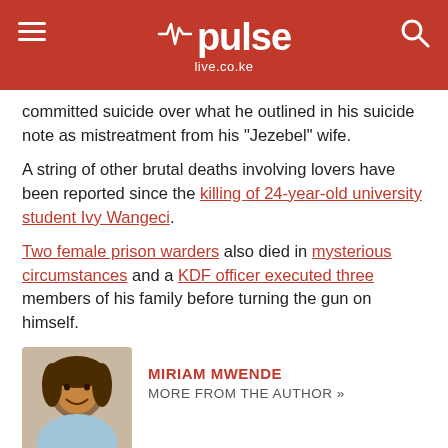[Figure (logo): Pulse live.co.ke logo on red header bar with hamburger menu and search icon]
committed suicide over what he outlined in his suicide note as mistreatment from his "Jezebel" wife.
A string of other brutal deaths involving lovers have been reported since the killing of 24-year-old university student Ivy Wangeci.
Two female prison warders also died in mysterious circumstances and a KDF officer executed three members of his family before turning the gun on himself.
[Figure (photo): Headshot photo of Miriam Mwende, a woman with braided hair, smiling]
MIRIAM MWENDE
MORE FROM THE AUTHOR »
Aspiring thought leader. Politics, media, and culture enthusiast. Believer in the power of journalism as an instrument for change. #IAmForJournalists